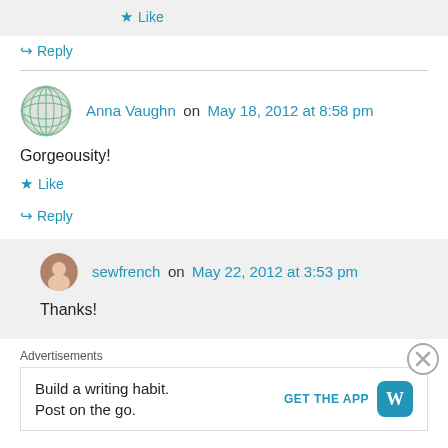★ Like
↪ Reply
Anna Vaughn on May 18, 2012 at 8:58 pm
Gorgeousity!
★ Like
↪ Reply
sewfrench on May 22, 2012 at 3:53 pm
Thanks!
Advertisements
Build a writing habit. Post on the go.
GET THE APP